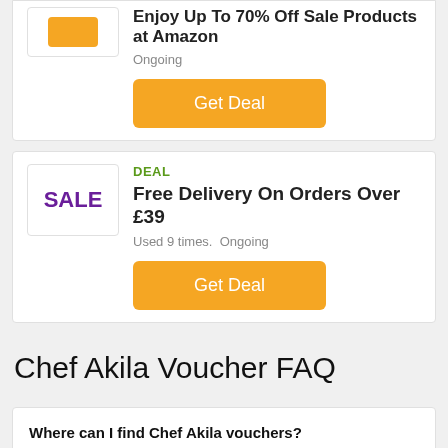[Figure (other): Partial deal card at top: Amazon logo placeholder, title 'Enjoy Up To 70% Off Sale Products at Amazon', status 'Ongoing', Get Deal button]
Enjoy Up To 70% Off Sale Products at Amazon
Ongoing
Get Deal
DEAL
Free Delivery On Orders Over £39
Used 9 times.  Ongoing
Get Deal
Chef Akila Voucher FAQ
Where can I find Chef Akila vouchers?
You simply find up-to-date Chef Akila vouchers and promotional